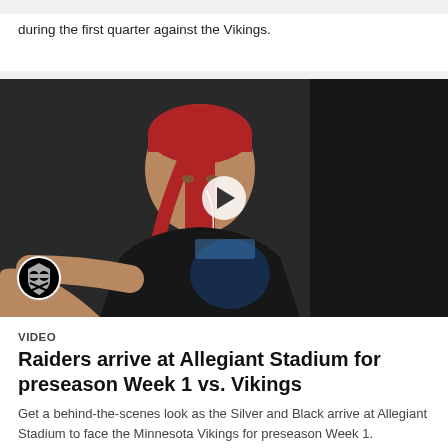during the first quarter against the Vikings.
[Figure (photo): A Raiders player wearing a red bandana and earphones, dressed in a black band t-shirt, pointing toward the camera in a locker room corridor. Raiders logo visible in bottom left corner. Play button overlay indicating video content.]
VIDEO
Raiders arrive at Allegiant Stadium for preseason Week 1 vs. Vikings
Get a behind-the-scenes look as the Silver and Black arrive at Allegiant Stadium to face the Minnesota Vikings for preseason Week 1.